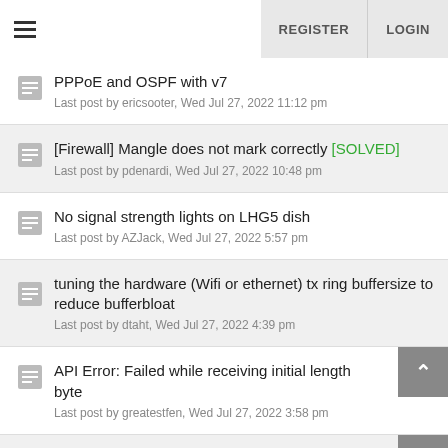≡   REGISTER   LOGIN
PPPoE and OSPF with v7
Last post by ericsooter, Wed Jul 27, 2022 11:12 pm
[Firewall] Mangle does not mark correctly [SOLVED]
Last post by pdenardi, Wed Jul 27, 2022 10:48 pm
No signal strength lights on LHG5 dish
Last post by AZJack, Wed Jul 27, 2022 5:57 pm
tuning the hardware (Wifi or ethernet) tx ring buffersize to reduce bufferbloat
Last post by dtaht, Wed Jul 27, 2022 4:39 pm
API Error: Failed while receiving initial length byte
Last post by greatestfen, Wed Jul 27, 2022 3:58 pm
[Problem]Connection Limit Problem (Block Internet)
Last post by Ziloo80, Wed Jul 27, 2022 12:18 pm